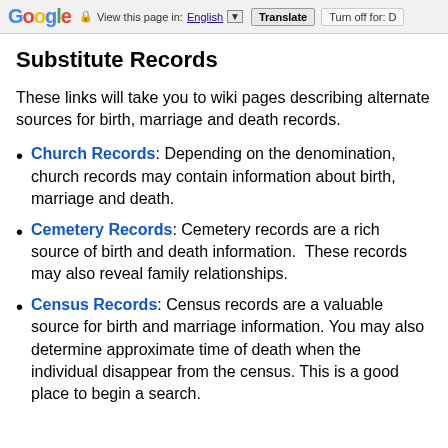Google  View this page in: English [▼]  Translate  Turn off for: D
Substitute Records
These links will take you to wiki pages describing alternate sources for birth, marriage and death records.
Church Records: Depending on the denomination, church records may contain information about birth, marriage and death.
Cemetery Records: Cemetery records are a rich source of birth and death information.  These records may also reveal family relationships.
Census Records: Census records are a valuable source for birth and marriage information. You may also determine approximate time of death when the individual disappear from the census. This is a good place to begin a search.